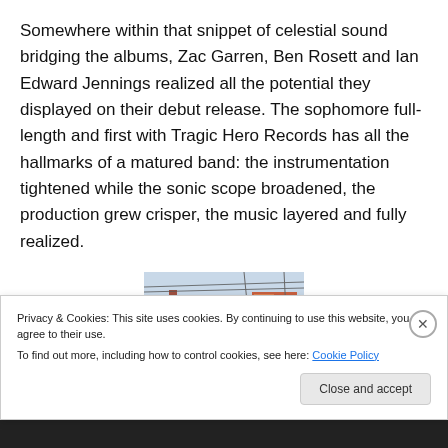Somewhere within that snippet of celestial sound bridging the albums, Zac Garren, Ben Rosett and Ian Edward Jennings realized all the potential they displayed on their debut release. The sophomore full-length and first with Tragic Hero Records has all the hallmarks of a matured band: the instrumentation tightened while the sonic scope broadened, the production grew crisper, the music layered and fully realized.
[Figure (photo): Photo of a building exterior with colorful artwork/murals visible, power lines in background]
Privacy & Cookies: This site uses cookies. By continuing to use this website, you agree to their use.
To find out more, including how to control cookies, see here: Cookie Policy
Close and accept